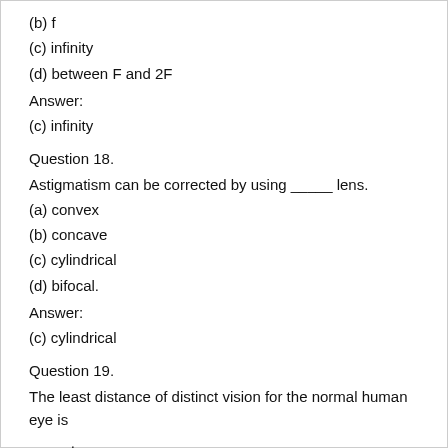(b) f
(c) infinity
(d) between F and 2F
Answer:
(c) infinity
Question 18.
Astigmatism can be corrected by using _____ lens.
(a) convex
(b) concave
(c) cylindrical
(d) bifocal.
Answer:
(c) cylindrical
Question 19.
The least distance of distinct vision for the normal human eye is _____.
(a) 30 cm
(b) 25 cm
(c) 35 cm